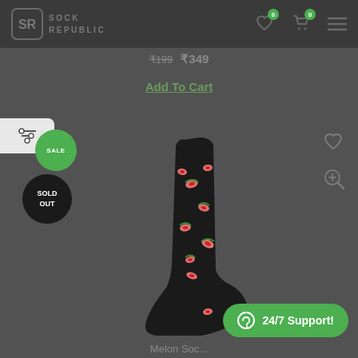[Figure (screenshot): Sock Republic e-commerce website header with logo, wishlist, cart, and menu icons]
₹199 ₹349
Add To Cart
[Figure (photo): Dark black sock with watermelon pattern printed on it]
SOLD OUT
24/7 Support!
Melon Soc...